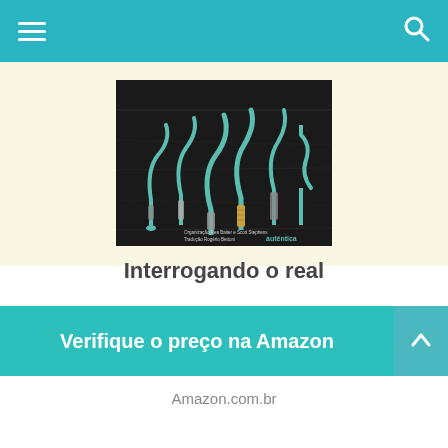[Figure (screenshot): Navigation bar with hamburger menu icon on left and search icon on right, teal/cyan background]
[Figure (photo): Book cover of 'Interrogando o real' showing metallic question mark shaped hooks/bolts on a dark wooden surface. Text at bottom: Organização Rea Baiter e Scott Stephens, Tradução Rogério Bettoni, autêntica]
Interrogando o real
Verifique o preço na Amazon
Amazon.com.br